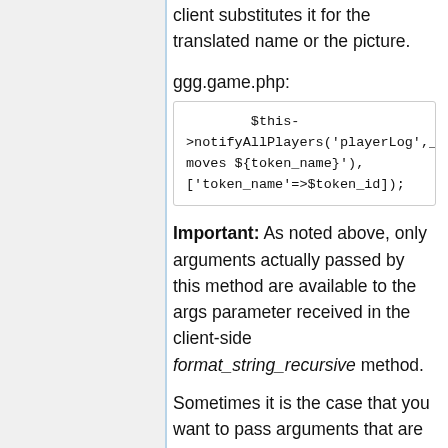client substitutes it for the translated name or the picture.
ggg.game.php:
$this->notifyAllPlayers('playerLog', _('${token_name} moves ${token_name}'), ['token_name'=>$token_id]);
Important: As noted above, only arguments actually passed by this method are available to the args parameter received in the client-side format_string_recursive method.
Sometimes it is the case that you want to pass arguments that are not actually included in the output message. For example, suppose we have a method like this: